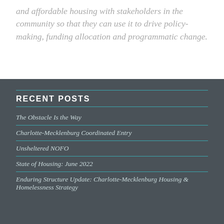and affordable housing with stakeholders in the community so that they can use it to drive policy-making, funding allocation and programmatic change.
RECENT POSTS
The Obstacle Is the Way
Charlotte-Mecklenburg Coordinated Entry
Unsheltered NOFO
State of Housing: June 2022
Enduring Structure Update: Charlotte-Mecklenburg Housing & Homelessness Strategy